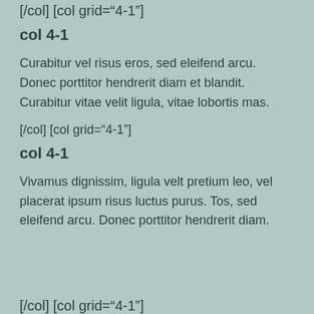[/col] [col grid="4-1"]
col 4-1
Curabitur vel risus eros, sed eleifend arcu. Donec porttitor hendrerit diam et blandit. Curabitur vitae velit ligula, vitae lobortis mas.
[/col] [col grid="4-1"]
col 4-1
Vivamus dignissim, ligula velt pretium leo, vel placerat ipsum risus luctus purus. Tos, sed eleifend arcu. Donec porttitor hendrerit diam.
[/col] [col grid="4-1"]